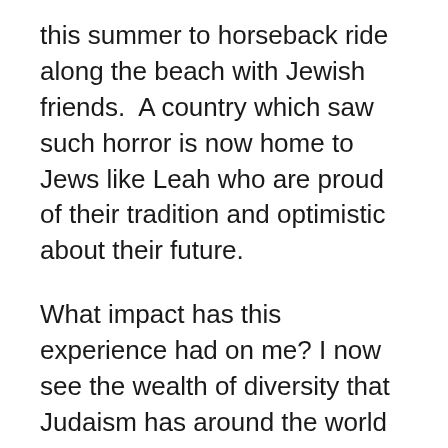this summer to horseback ride along the beach with Jewish friends.  A country which saw such horror is now home to Jews like Leah who are proud of their tradition and optimistic about their future.
What impact has this experience had on me? I now see the wealth of diversity that Judaism has around the world in practice, language, and community. There are great opportunities in Jewish collaboration. I have learned that dialogue is a path towards progress. Having the ability to engage with these communities has opened my eyes and my heart. I am excited to share the stories of what I have